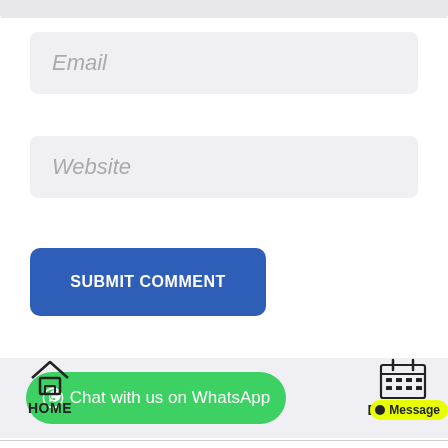[Figure (screenshot): Top partial grey bar from previous UI element]
Email
Website
SUBMIT COMMENT
Chat with us on WhatsApp
HOME
BOOKING
Message